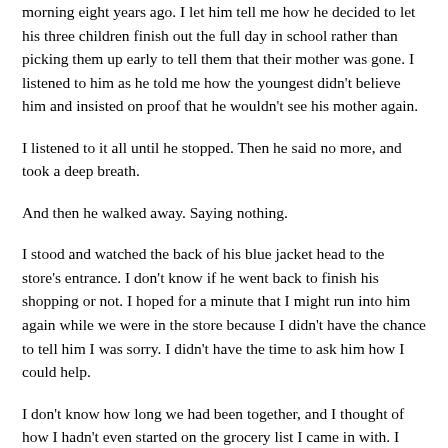morning eight years ago. I let him tell me how he decided to let his three children finish out the full day in school rather than picking them up early to tell them that their mother was gone. I listened to him as he told me how the youngest didn't believe him and insisted on proof that he wouldn't see his mother again.
I listened to it all until he stopped. Then he said no more, and took a deep breath.
And then he walked away. Saying nothing.
I stood and watched the back of his blue jacket head to the store's entrance. I don't know if he went back to finish his shopping or not. I hoped for a minute that I might run into him again while we were in the store because I didn't have the chance to tell him I was sorry. I didn't have the time to ask him how I could help.
I don't know how long we had been together, and I thought of how I hadn't even started on the grocery list I came in with. I knew I'd be getting back home late. It would be time for lunch and to start for my own meals. Then I'd be getting for my own...